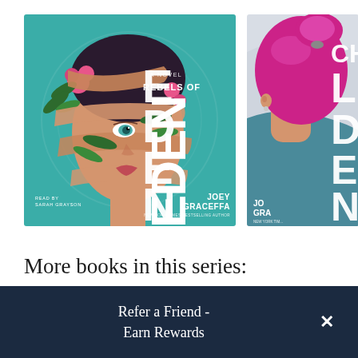[Figure (illustration): Book cover: Rebels of Eden by Joey Graceffa. Illustrated face of a young woman with teal/cyan background, wrapped in pink/tan ribbon-like bands and tropical leaves and pink flowers. Text: A NOVEL, REBELS OF EDEN, READ BY SARAH GRAYSON, JOEY GRACEFFA, NEW YORK TIMES BESTSELLING AUTHOR.]
[Figure (illustration): Partial book cover (cropped): Children of Eden by Joey Graceffa. Shows back of girl with bright magenta/pink hair in a bun, blue/grey background, partial text: CHI... EDEN, JO GRA, NEW YORK TIM...]
More books in this series:
Refer a Friend - Earn Rewards